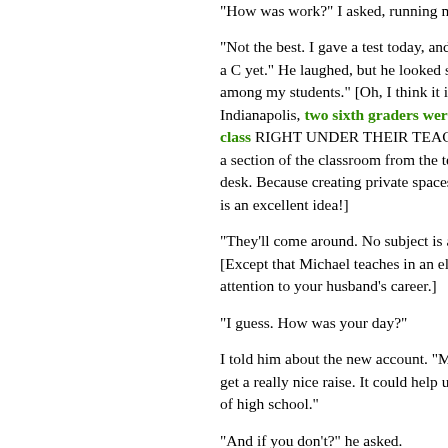"How was work?" I asked, running my fi...
"Not the best. I gave a test today, and I've... a C yet." He laughed, but he looked sad. ... among my students." [Oh, I think it is, jus... Indianapolis, two sixth graders were ca... class RIGHT UNDER THEIR TEACHER ... a section of the classroom from the teac... desk. Because creating private spaces w... is an excellent idea!]
"They'll come around. No subject is a fu... [Except that Michael teaches in an eleme... attention to your husband's career.]
"I guess. How was your day?"
I told him about the new account. "Micha... get a really nice raise. It could help us se... of high school."
"And if you don't?" he asked.
I smiled weakly. "Then we qualify for foo...
"We'll be OK, honey. I know you'll knock...